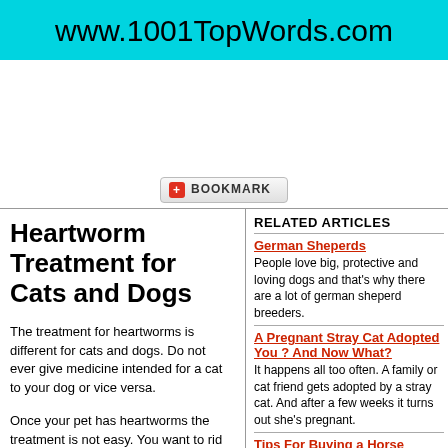www.1001TopWords.com
[Figure (other): Advertisement area (blank white space)]
[Figure (other): Bookmark button with red plus icon and text BOOKMARK]
Heartworm Treatment for Cats and Dogs
The treatment for heartworms is different for cats and dogs. Do not ever give medicine intended for a cat to your dog or vice versa.
Once your pet has heartworms the treatment is not easy. You want to rid your pet of heartworms but many factors need to be looked at before proceeding. Your
RELATED ARTICLES
German Sheperds
People love big, protective and loving dogs and that's why there are a lot of german sheperd breeders.
A Pregnant Stray Cat Adopted You ? And Now What?
It happens all too often. A family or cat friend gets adopted by a stray cat. And after a few weeks it turns out she's pregnant.
Tips For Buying a Horse Online
More and more folks are looking to the Internet to find their next cat, dog or horse. While this offers a convenient solution and broader selection outside of ones locality, it can be fraught with unseen expenses and potential heartache. It seems inevitable that buying horses online will become more the norm than the exception as the Internet grows. With that in mind, following is a short list of what one should do when looking to